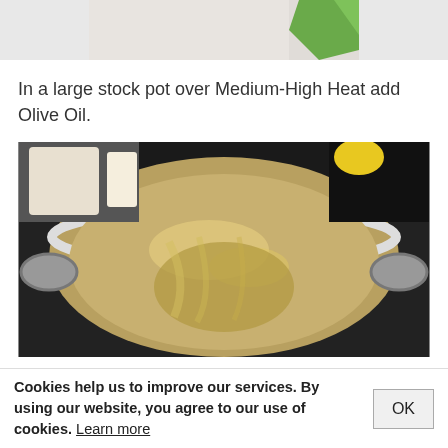[Figure (photo): Top portion of a photo showing a cutting board with a green vegetable (lime/pepper), cropped at the top of the page]
In a large stock pot over Medium-High Heat add Olive Oil.
[Figure (photo): A stainless steel stock pot with olive oil coating the bottom, sitting on a black electric stove burner, viewed from above]
Add garlic and pepper flakes and sauté for
Cookies help us to improve our services. By using our website, you agree to our use of cookies. Learn more